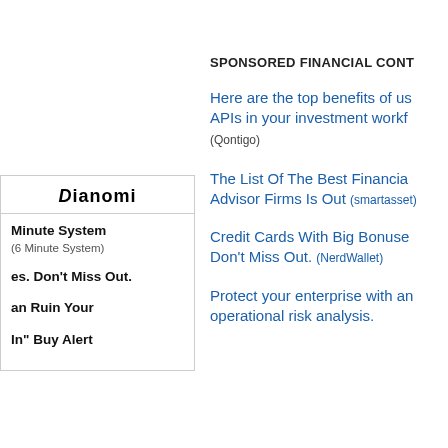[Figure (logo): Dianomi logo in bold italic style]
Minute System
(6 Minute System)
es. Don't Miss Out.
an Ruin Your
In" Buy Alert
SPONSORED FINANCIAL CONT
Here are the top benefits of us APIs in your investment workf
(Qontigo)
The List Of The Best Financia Advisor Firms Is Out (smartasset)
Credit Cards With Big Bonuse Don't Miss Out. (NerdWallet)
Protect your enterprise with an operational risk analysis.